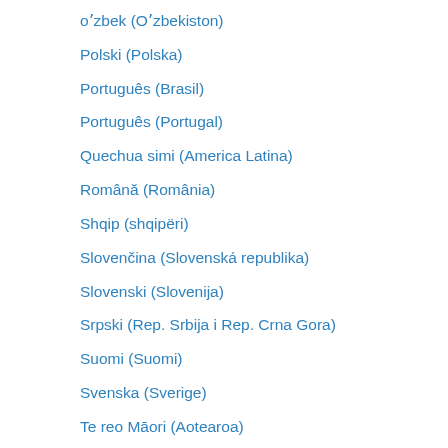o'zbek (O'zbekiston)
Polski (Polska)
Português (Brasil)
Português (Portugal)
Quechua simi (America Latina)
Română (România)
Shqip (shqipëri)
Slovenčina (Slovenská republika)
Slovenski (Slovenija)
Srpski (Rep. Srbija i Rep. Crna Gora)
Suomi (Suomi)
Svenska (Sverige)
Te reo Māori (Aotearoa)